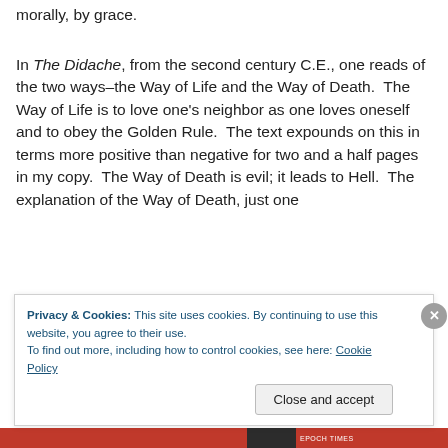morally, by grace.
In The Didache, from the second century C.E., one reads of the two ways–the Way of Life and the Way of Death.  The Way of Life is to love one's neighbor as one loves oneself and to obey the Golden Rule.  The text expounds on this in terms more positive than negative for two and a half pages in my copy.  The Way of Death is evil; it leads to Hell.  The explanation of the Way of Death, just one...
Privacy & Cookies: This site uses cookies. By continuing to use this website, you agree to their use.
To find out more, including how to control cookies, see here: Cookie Policy